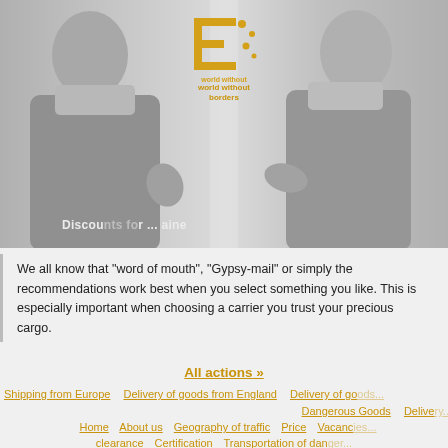[Figure (photo): Banner header with two business women on left and right sides, company logo in center, text 'Discounts for ... raine' overlaid at bottom left]
We all know that "word of mouth", "Gypsy-mail" or simply the recommendations work best when you select something you like. This is especially important when choosing a carrier you trust your precious cargo.
All actions »
Shipping from Europe   Delivery of goods from England   Delivery of go...
Dangerous Goods   Delive...
Home   About us   Geography of traffic   Price   Vacanc...
clearance   Certification   Transportation of dan...
Open Company «European logistic company»
49000 Ukraine, Dnepropetrovsk, street Ivana Akinfieva 23, off...
cell.: +38(067) 631 20 25